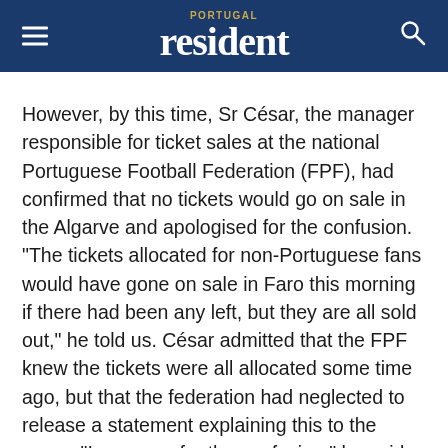PORTUGAL resident
However, by this time, Sr César, the manager responsible for ticket sales at the national Portuguese Football Federation (FPF), had confirmed that no tickets would go on sale in the Algarve and apologised for the confusion. “The tickets allocated for non-Portuguese fans would have gone on sale in Faro this morning if there had been any left, but they are all sold out,” he told us. César admitted that the FPF knew the tickets were all allocated some time ago, but that the federation had neglected to release a statement explaining this to the press. “I am sorry for the confusion,” he said. “This has got nothing to do